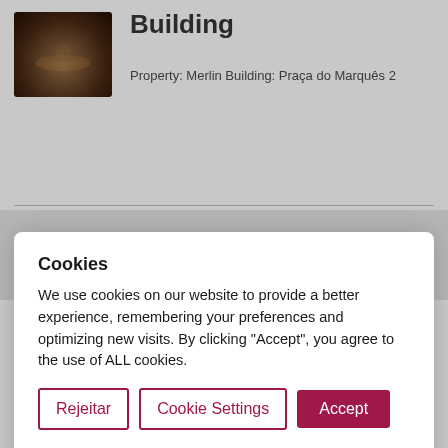Building
Property: Merlin Building: Praça do Marquês 2
Cookies
We use cookies on our website to provide a better experience, remembering your preferences and optimizing new visits. By clicking "Accept", you agree to the use of ALL cookies.
Rejeitar | Cookie Settings | Accept
Privacy and Cookies Policy
Post
Espace Building
Property: AFIAA Building: Espace